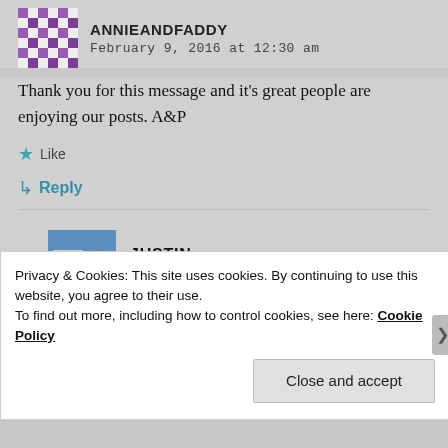ANNIEANDFADDY — February 9, 2016 at 12:30 am
Thank you for this message and it's great people are enjoying our posts. A&P
★ Like
↳ Reply
JUSTIN — January 2, 2018 at 6:34 pm
Privacy & Cookies: This site uses cookies. By continuing to use this website, you agree to their use. To find out more, including how to control cookies, see here: Cookie Policy
Close and accept